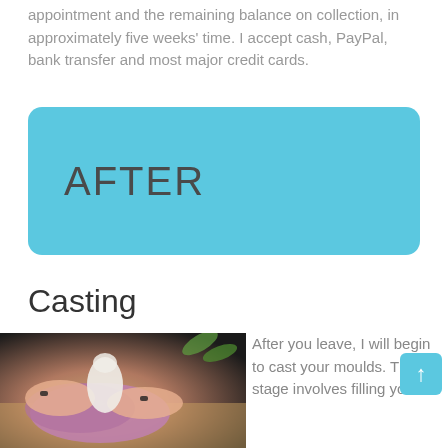appointment and the remaining balance on collection, in approximately five weeks' time. I accept cash, PayPal, bank transfer and most major credit cards.
AFTER
Casting
[Figure (photo): Hands with dark nail polish removing a purple mould from a baby's foot on a wooden surface]
After you leave, I will begin to cast your moulds. This stage involves filling your